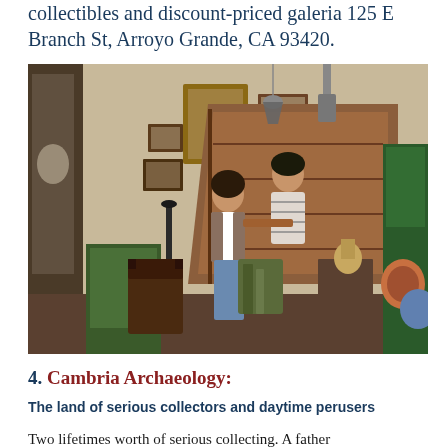collectibles and discount-priced galeria 125 E Branch St, Arroyo Grande, CA 93420.
[Figure (photo): Two people browsing antiques and collectibles inside a cluttered shop filled with framed paintings, lamps, furniture, vintage items, and a wooden staircase in the background.]
4. Cambria Archaeology:
The land of serious collectors and daytime perusers
Two lifetimes worth of serious collecting. A father